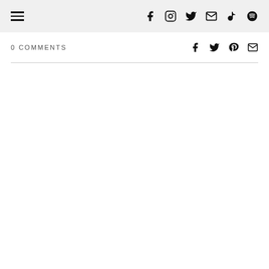Navigation header with hamburger menu and social icons: Facebook, Instagram, Twitter, Email, TikTok, Spotify
0 COMMENTS
[Figure (illustration): Share icons row: Facebook, Twitter, Pinterest, Email]